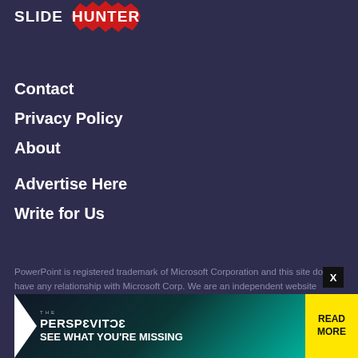[Figure (logo): SLIDE HUNTER logo with red jagged badge shape behind HUNTER text]
Contact
Privacy Policy
About
Advertise Here
Write for Us
PowerPoint is registered trademark of Microsoft Corporation and this site do not have any relationship with Microsoft Corp. We are an independent website offering free presentation solutions and free PowerPoint backgrounds for presentations.
[Figure (screenshot): Advertisement banner with 'THE PERSPECTIVE – SEE WHAT YOU'RE MISSING' text and READ MORE button in yellow, with close X button above]